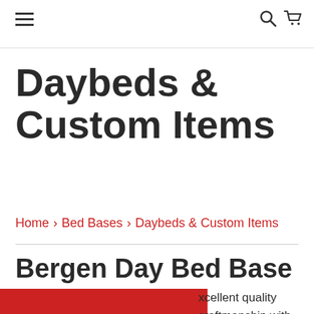☰  🔍 🛒
Daybeds & Custom Items
Home › Bed Bases › Daybeds & Custom Items
Bergen Day Bed Base
[Figure (photo): Red product image placeholder block]
excellent quality craftmanship with sturdy three point fastening